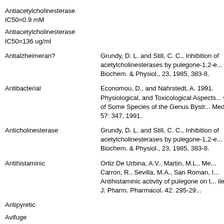| Antiacetylcholinesterase
IC50=0.9 mM |  |
| Antiacetylcholinesterase
IC50=136 ug/ml |  |
| Antialzheimeran? | Grundy, D. L. and Still, C. C., Inhibition of acetylcholinesterases by pulegone-1,2-e... Biochem. & Physiol., 23, 1985, 383-8. |
| Antibacterial | Economou, D., and Nahrstedt, A. 1991. Physiological, and Toxicological Aspects... Oil of Some Species of the Genus Bystr... Medica, 57: 347, 1991. |
| Anticholinesterase | Grundy, D. L. and Still, C. C., Inhibition of acetylcholinesterases by pulegone-1,2-e... Biochem. & Physiol., 23, 1985, 383-8. |
| Antihistaminic | Ortiz De Urbina, A.V., Martin, M.L., Me... Carron, R., Sevilla, M.A., San Roman, I... Antihistaminic activity of pulegone on t... ileum. J. Pharm. Pharmacol. 42: 295-29... |
| Antipyretic |  |
| Avifuge |  |
| Cancer-Preventive | Stitt, P. A. Why George Should Eat Broc... Co, Milwaukee, WI, 1990, 399 pp. |
|  | Economou, D., and Nahrstedt, A. 1991. |